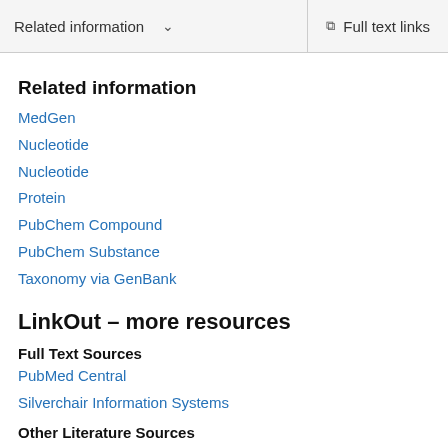Related information    Full text links
Related information
MedGen
Nucleotide
Nucleotide
Protein
PubChem Compound
PubChem Substance
Taxonomy via GenBank
LinkOut – more resources
Full Text Sources
PubMed Central
Silverchair Information Systems
Other Literature Sources
The Lens - Patent Citations